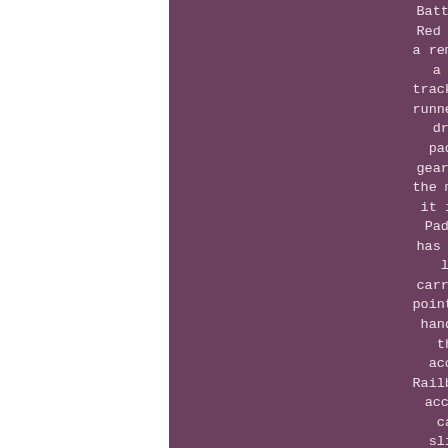Batten system. Underneath the Red Paddle Co 12'6 Voyager is a removable FCS 9 Touring fin, a nose runner fin to help tracking in side winds and two runner fins to cancel our tail drift when the inflatable paddleboard is loaded with gear. As a package it is also the most complete we offer, as it includes not only the Red Paddle Co 12'6 Voyager that has well thought out features like a central and rear carrying handle, leash fixing point, D-ring at the nose with handle, two intergral female thread plates which will accept either RAM Mount or Railblaza mounting systems for accessories such as a GoPro camera or fishing rod, a slipknot bungee system, D-rings at the rear of the paddleboard and a US fin box with removable FCS 9 Touring Fin that ensures excellent